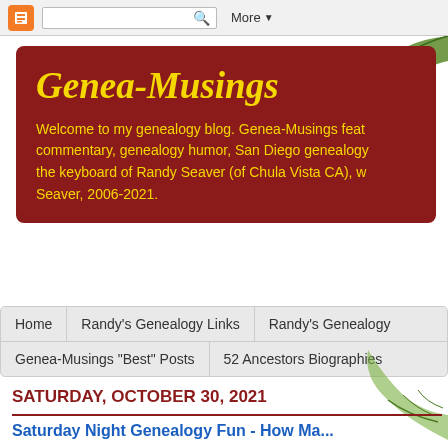Blogger toolbar with search and More menu
Genea-Musings
Welcome to my genealogy blog. Genea-Musings features commentary, genealogy humor, San Diego genealogy the keyboard of Randy Seaver (of Chula Vista CA), w Seaver, 2006-2021.
Home
Randy's Genealogy Links
Randy's Genealogy
Genea-Musings "Best" Posts
52 Ancestors Biographies
SATURDAY, OCTOBER 30, 2021
Saturday Night Genealogy Fun - How Ma...